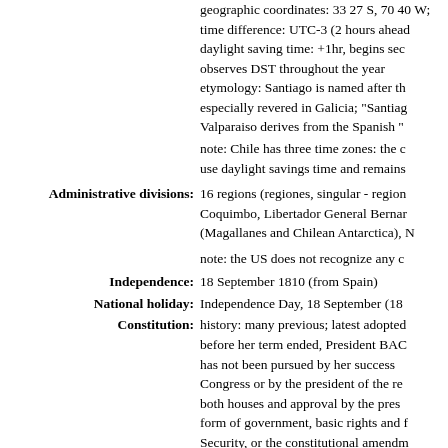geographic coordinates: 33 27 S, 70 40 W; time difference: UTC-3 (2 hours ahead of Washington, DC, during Standard Time); daylight saving time: +1hr, begins second Sunday in October; note: Chile observes DST throughout the year; etymology: Santiago is named after the biblical figure of Saint James, especially revered in Galicia; "Santiago" derives from "Sancte Iago" (Saint James in Latin); Valparaiso derives from the Spanish "Valle Paraiso" meaning "Paradise Valley"
note: Chile has three time zones: the continental region, Easter Island, and the Magallanes region; the last does not use daylight savings time and remains at UTC-3 throughout the year
Administrative divisions: 16 regions (regiones, singular - region); Arica y Parinacota, Tarapaca, Antofagasta, Atacama, Coquimbo, Libertador General Bernardo O'Higgins, Maule, Nuble, Biobio, La Araucania, Los Rios, Los Lagos, Aysen del General Carlos Ibanez del Campo, Magallanes and Chilean Antarctica (Magallanes y de la Antartica Chilena), Metropolitana de Santiago, Valparaiso
note: the US does not recognize any claims to Antarctica
Independence: 18 September 1810 (from Spain)
National holiday: Independence Day, 18 September (1810)
Constitution: history: many previous; latest adopted 11 September 1980, effective 11 March 1981; before her term ended, President BACHELET submitted a proposed new constitution in March 2018, but it has not been pursued by her successors; amendments: proposed by members of either chamber of Congress or by the president of the republic; passage requires four-sevenths majority vote of both houses and approval by the president; passage of amendments to constitutional articles on the form of government, basic rights and freedoms, the Constitutional Tribunal, electoral laws, the Armed Security, or the constitutional amendment process requires two-thirds majority vote by both houses of Congress and approval by the president; if both chambers do not reach agreement and the president disagree on an amendment; last amended 2021; note - in 2022, a proposed new constitution was rejected (2018)
Legal system: civil law system influenced by several continental European legal systems; judicial review of legislative acts by the Constitutional Tribunal
Suffrage: 18 years of age; universal